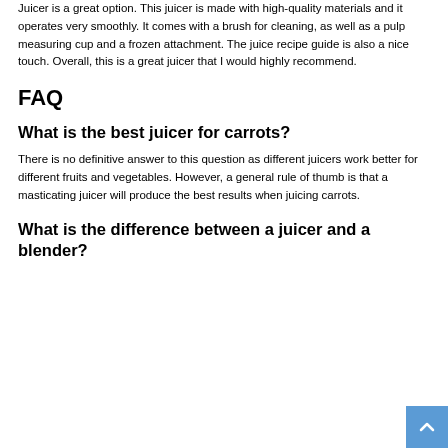Juicer is a great option. This juicer is made with high-quality materials and it operates very smoothly. It comes with a brush for cleaning, as well as a pulp measuring cup and a frozen attachment. The juice recipe guide is also a nice touch. Overall, this is a great juicer that I would highly recommend.
FAQ
What is the best juicer for carrots?
There is no definitive answer to this question as different juicers work better for different fruits and vegetables. However, a general rule of thumb is that a masticating juicer will produce the best results when juicing carrots.
What is the difference between a juicer and a blender?